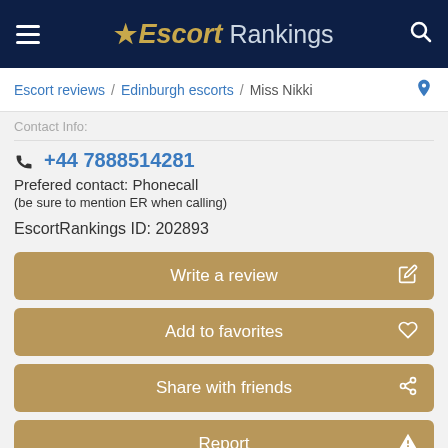Escort Rankings
Escort reviews / Edinburgh escorts / Miss Nikki
Contact Info:
+44 7888514281
Prefered contact: Phonecall
(be sure to mention ER when calling)
EscortRankings ID: 202893
Write a review
Add to favorites
Share with friends
Report
6 Photos